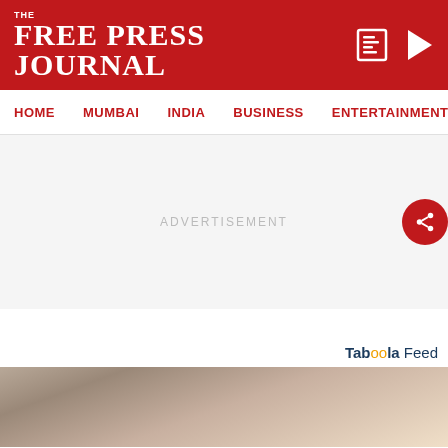THE FREE PRESS JOURNAL
HOME | MUMBAI | INDIA | BUSINESS | ENTERTAINMENT | SPO
ADVERTISEMENT
Taboola Feed
[Figure (photo): Partial view of a person, advertisement image from Taboola feed]
ADVERTISEMENT